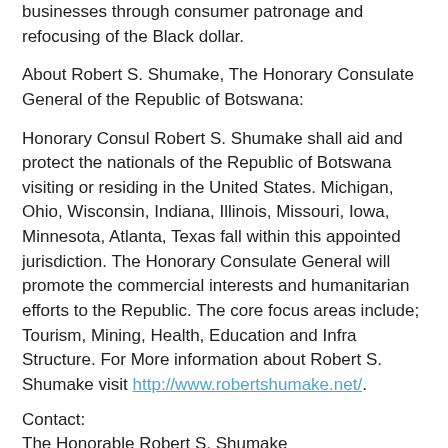businesses through consumer patronage and refocusing of the Black dollar.
About Robert S. Shumake, The Honorary Consulate General of the Republic of Botswana:
Honorary Consul Robert S. Shumake shall aid and protect the nationals of the Republic of Botswana visiting or residing in the United States. Michigan, Ohio, Wisconsin, Indiana, Illinois, Missouri, Iowa, Minnesota, Atlanta, Texas fall within this appointed jurisdiction. The Honorary Consulate General will promote the commercial interests and humanitarian efforts to the Republic. The core focus areas include; Tourism, Mining, Health, Education and Infra Structure. For More information about Robert S. Shumake visit http://www.robertshumake.net/.
Contact:
The Honorable Robert S. Shumake
Office of Honorary Consulate of the Republic of Botswana
Phone: 1.855.444.7852 (PULA)
Email: pr@botswanaconsulate.org